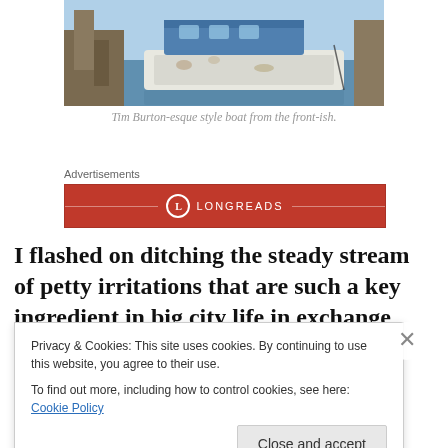[Figure (photo): A Tim Burton-esque style boat photographed from the front-ish, showing a weathered white boat with blue roof/top structure, moored in dark water at a dock. The boat appears worn with peeling paint.]
Tim Burton-esque style boat from the front-ish.
Advertisements
[Figure (logo): Longreads advertisement banner — red background with Longreads circular logo (L in circle) and LONGREADS text in white, flanked by horizontal lines]
I flashed on ditching the steady stream of petty irritations that are such a key ingredient in big city life in exchange
Privacy & Cookies: This site uses cookies. By continuing to use this website, you agree to their use.
To find out more, including how to control cookies, see here: Cookie Policy